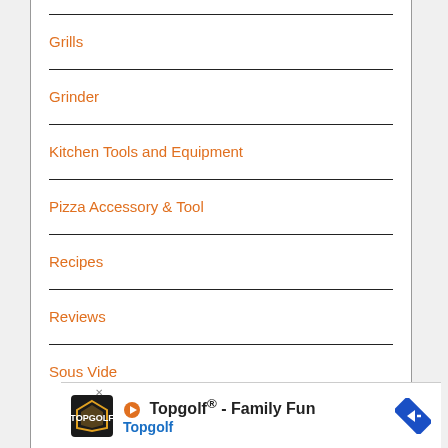Grills
Grinder
Kitchen Tools and Equipment
Pizza Accessory & Tool
Recipes
Reviews
Sous Vide
[Figure (other): Topgolf advertisement banner with logo, text 'Topgolf® - Family Fun', 'Topgolf' in blue, and a blue diamond arrow icon]